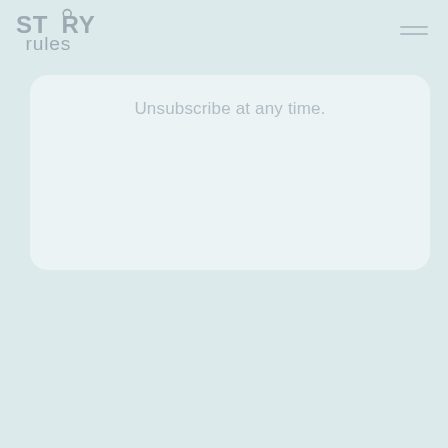STORY rules
Unsubscribe at any time.